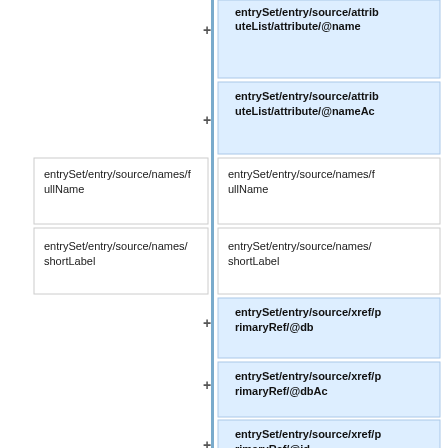[Figure (flowchart): A two-column diagram showing XML path mappings. Left column contains white boxes with XPath expressions (entrySet/entry/source/names/fullName and entrySet/entry/source/names/shortLabel). Right column contains blue highlighted boxes with XPath expressions including entrySet/entry/source/attributeList/attribute/@name, attributeList/attribute/@nameAc, names/fullName, names/shortLabel, xref/primaryRef/@db, /@dbAc, /@id, /@refType, /@refTypeAc. Plus signs connect left to right. A vertical blue line separates columns.]